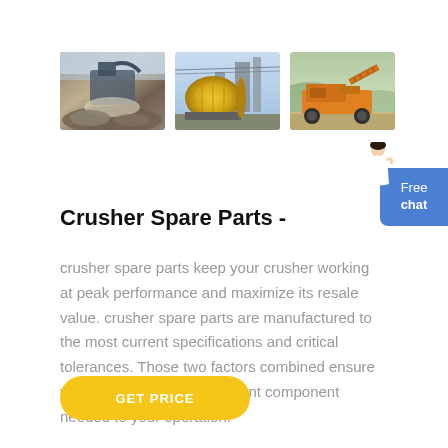[Figure (photo): Three industrial photos showing crusher/mining equipment: left - rock crusher with debris, center - large yellow ball mill, right - orange mobile crusher equipment]
Crusher Spare Parts -
crusher spare parts keep your crusher working at peak performance and maximize its resale value. crusher spare parts are manufactured to the most current specifications and critical tolerances. Those two factors combined ensure you get the exact replacement component needed to your operation.
GET PRICE